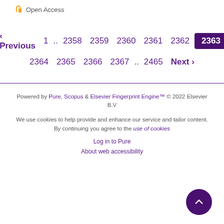Open Access
‹ Previous   1 .. 2358   2359   2360   2361   2362   2363   2364   2365   2366   2367 .. 2465   Next ›
Powered by Pure, Scopus & Elsevier Fingerprint Engine™ © 2022 Elsevier B.V
We use cookies to help provide and enhance our service and tailor content. By continuing you agree to the use of cookies
Log in to Pure
About web accessibility